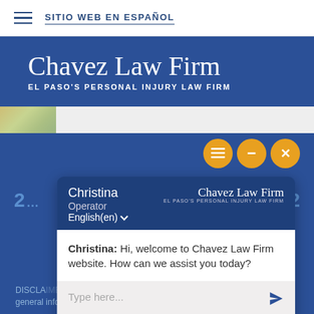SITIO WEB EN ESPAÑOL
Chavez Law Firm
EL PASO'S PERSONAL INJURY LAW FIRM
[Figure (screenshot): Website screenshot of Chavez Law Firm showing a live chat widget popup with agent Christina (Operator, English), displaying welcome message and input field. Three orange circular buttons visible.]
Christina: Hi, welcome to Chavez Law Firm website. How can we assist you today?
Type here...
Powered By: Accelerate Now
DISCLAIMER ... site is for general information purposes only. Nothing on this site